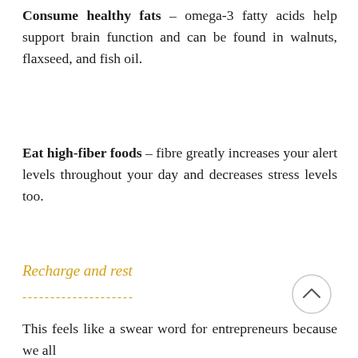Consume healthy fats – omega-3 fatty acids help support brain function and can be found in walnuts, flaxseed, and fish oil.
Eat high-fiber foods – fibre greatly increases your alert levels throughout your day and decreases stress levels too.
Recharge and rest
--------------------
This feels like a swear word for entrepreneurs because we all